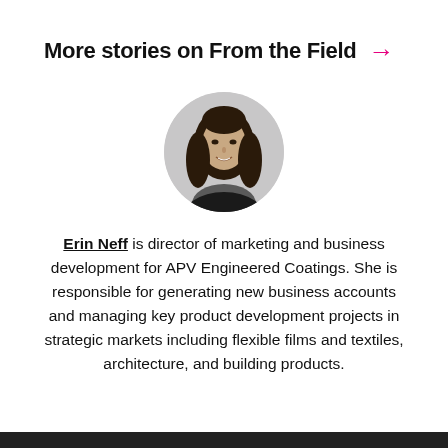More stories on From the Field →
[Figure (photo): Circular black-and-white headshot portrait of Erin Neff, a woman with long dark hair, smiling]
Erin Neff is director of marketing and business development for APV Engineered Coatings. She is responsible for generating new business accounts and managing key product development projects in strategic markets including flexible films and textiles, architecture, and building products.